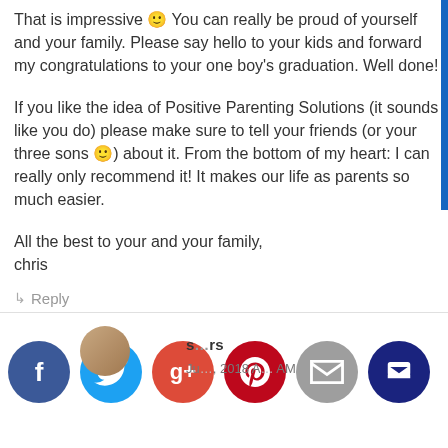That is impressive 🙂 You can really be proud of yourself and your family. Please say hello to your kids and forward my congratulations to your one boy's graduation. Well done!
If you like the idea of Positive Parenting Solutions (it sounds like you do) please make sure to tell your friends (or your three sons 🙂) about it. From the bottom of my heart: I can really only recommend it! It makes our life as parents so much easier.
All the best to your and your family,
chris
↳ Reply
s…rs
Ju…, 2018 A…AM